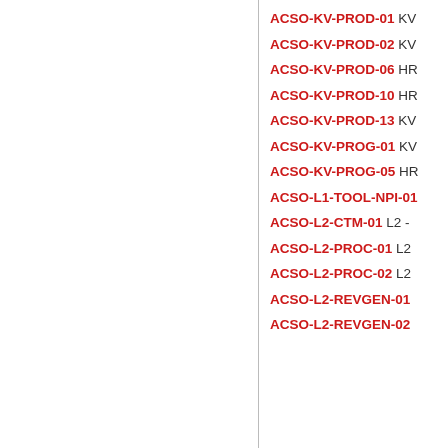ACSO-KV-PROD-01 KV...
ACSO-KV-PROD-02 KV...
ACSO-KV-PROD-06 HR...
ACSO-KV-PROD-10 HR...
ACSO-KV-PROD-13 KV...
ACSO-KV-PROG-01 KV...
ACSO-KV-PROG-05 HR...
ACSO-L1-TOOL-NPI-01...
ACSO-L2-CTM-01 L2 -...
ACSO-L2-PROC-01 L2...
ACSO-L2-PROC-02 L2...
ACSO-L2-REVGEN-01...
ACSO-L2-REVGEN-02...